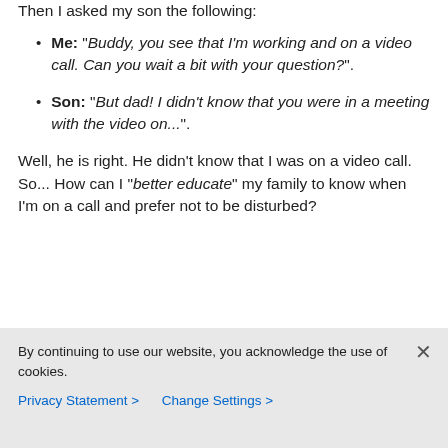Then I asked my son the following:
Me: “Buddy, you see that I’m working and on a video call. Can you wait a bit with your question?”.
Son: “But dad! I didn’t know that you were in a meeting with the video on...”.
Well, he is right. He didn’t know that I was on a video call. So... How can I “better educate” my family to know when I’m on a call and prefer not to be disturbed?
By continuing to use our website, you acknowledge the use of cookies. Privacy Statement > Change Settings >